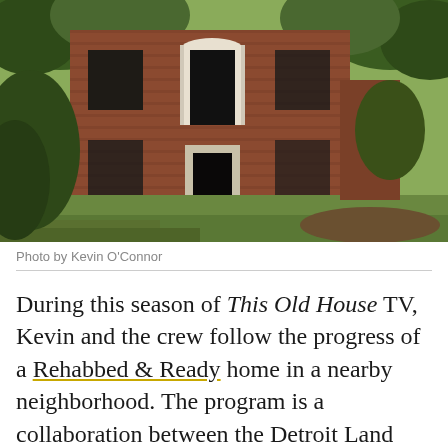[Figure (photo): Photograph of a run-down two-story red brick house with boarded-up windows, an ornate front door frame, concrete steps leading to the entrance, overgrown vegetation and trees around it, with a grassy yard and disturbed dirt in the foreground.]
Photo by Kevin O'Connor
During this season of This Old House TV, Kevin and the crew follow the progress of a Rehabbed & Ready home in a nearby neighborhood. The program is a collaboration between the Detroit Land Bank (where the Polks purchased their home as-is) and corporate